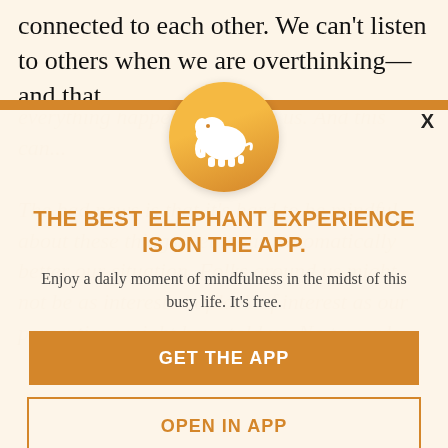connected to each other. We can't listen to others when we are overthinking—and that
might manifest in our body language. Not to forget that overthinking might cause negativity and a tendency to be overly critical toward everything happening around us. And this can ...
[Figure (logo): Orange circle with white elephant logo]
THE BEST ELEPHANT EXPERIENCE IS ON THE APP.
Enjoy a daily moment of mindfulness in the midst of this busy life. It's free.
GET THE APP
OPEN IN APP